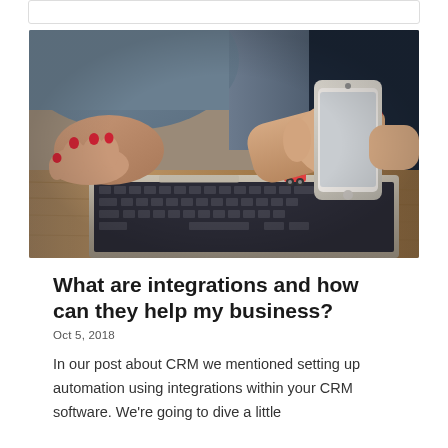[Figure (photo): Close-up photo of a woman's hands holding a smartphone over a laptop keyboard on a wooden desk, with red nail polish and a ring visible]
What are integrations and how can they help my business?
Oct 5, 2018
In our post about CRM we mentioned setting up automation using integrations within your CRM software. We're going to dive a little